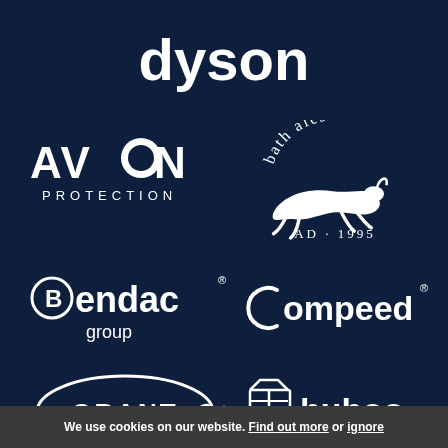[Figure (logo): Dyson logo in white on dark navy background, top center]
[Figure (logo): Avon Protection logo in white, left column]
[Figure (logo): Bath Ales logo with rabbit illustration and AD 1995, right column]
[Figure (logo): Bendac group logo in white, left column]
[Figure (logo): Compeed registered trademark logo in white, right column]
[Figure (logo): Grant logo with arrow swoosh in white, left column]
[Figure (logo): Huboo logo with box icon in white, right column]
[Figure (logo): Partial diamond/wing logo at bottom center, cut off]
We use cookies on our website. Find out more or ignore